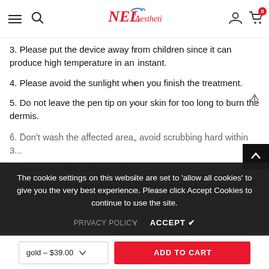NEL Aesthetics — navigation bar with hamburger, search, logo, user icon, cart (0)
3. Please put the device away from children since it can produce high temperature in an instant.
4. Please avoid the sunlight when you finish the treatment.
5. Do not leave the pen tip on your skin for too long to burn the dermis.
6. Don't wash the affected area, avoid scrubbing hard within 3...
7. Do not scratch... it naturally
8. When the equipment fails please do not disassemble to...
The cookie settings on this website are set to 'allow all cookies' to give you the very best experience. Please click Accept Cookies to continue to use the site.
PRIVACY POLICY   ACCEPT ✔
gold - $39.00   ADD TO CART